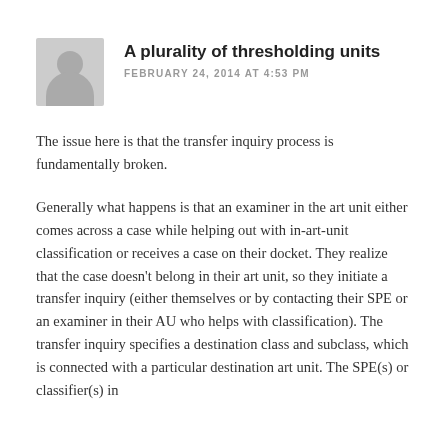A plurality of thresholding units
FEBRUARY 24, 2014 AT 4:53 PM
The issue here is that the transfer inquiry process is fundamentally broken.
Generally what happens is that an examiner in the art unit either comes across a case while helping out with in-art-unit classification or receives a case on their docket. They realize that the case doesn't belong in their art unit, so they initiate a transfer inquiry (either themselves or by contacting their SPE or an examiner in their AU who helps with classification). The transfer inquiry specifies a destination class and subclass, which is connected with a particular destination art unit. The SPE(s) or classifier(s) in